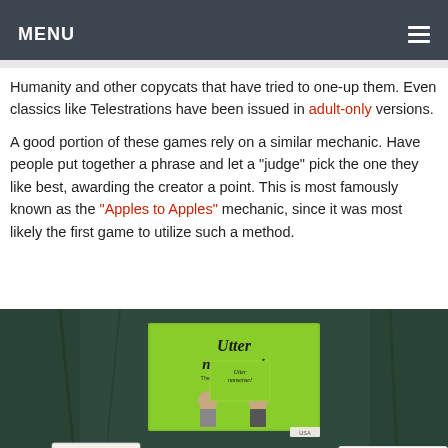MENU
Humanity and other copycats that have tried to one-up them. Even classics like Telestrations have been issued in adult-only versions.
A good portion of these games rely on a similar mechanic. Have people put together a phrase and let a "judge" pick the one they like best, awarding the creator a point. This is most famously known as the "Apples to Apples" mechanic, since it was most likely the first game to utilize such a method.
[Figure (photo): Photo of Utter Nonsense board game box (green) with game cards spread in front, on a dark background. A reCAPTCHA widget appears in the bottom-right corner.]